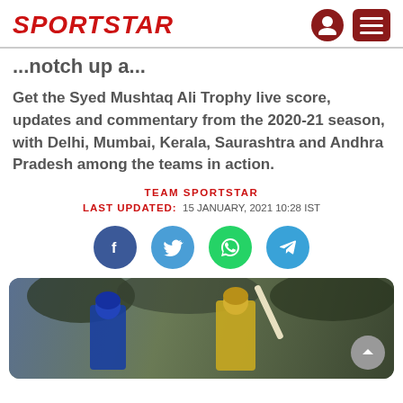SPORTSTAR
...notch up a...
Get the Syed Mushtaq Ali Trophy live score, updates and commentary from the 2020-21 season, with Delhi, Mumbai, Kerala, Saurashtra and Andhra Pradesh among the teams in action.
TEAM SPORTSTAR
LAST UPDATED: 15 JANUARY, 2021 10:28 IST
[Figure (photo): Two cricket players batting on a field, one in blue uniform and one in gold/yellow uniform, with trees in background]
[Figure (illustration): Social share buttons: Facebook, Twitter, WhatsApp, Telegram]